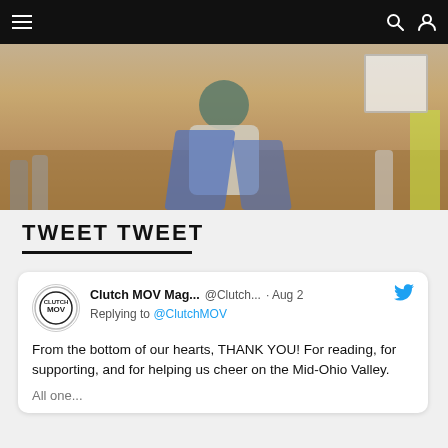Navigation bar with hamburger menu, search icon, and user icon
[Figure (photo): Outdoor photo showing people standing on sandy ground. A person in tie-dye shirt and khaki shorts is kneeling in the center holding a blue cape, surrounded by other people's legs. A person in neon yellow is visible on the right holding a sign.]
TWEET TWEET
Clutch MOV Mag...  @Clutch...  · Aug 2
Replying to @ClutchMOV
From the bottom of our hearts, THANK YOU! For reading, for supporting, and for helping us cheer on the Mid-Ohio Valley.

All one...